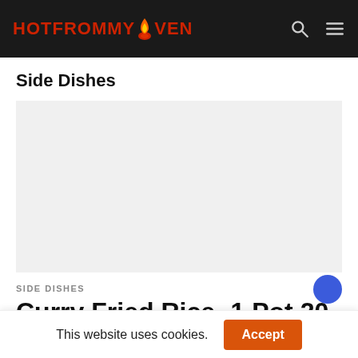HotFromMyOven
Side Dishes
[Figure (other): Advertisement placeholder box, light gray background]
SIDE DISHES
Curry Fried Rice -1 Pot 20 Mins
This website uses cookies. Accept